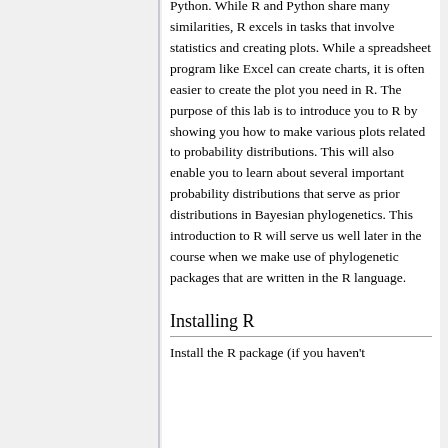Python. While R and Python share many similarities, R excels in tasks that involve statistics and creating plots. While a spreadsheet program like Excel can create charts, it is often easier to create the plot you need in R. The purpose of this lab is to introduce you to R by showing you how to make various plots related to probability distributions. This will also enable you to learn about several important probability distributions that serve as prior distributions in Bayesian phylogenetics. This introduction to R will serve us well later in the course when we make use of phylogenetic packages that are written in the R language.
Installing R
Install the R package (if you haven't